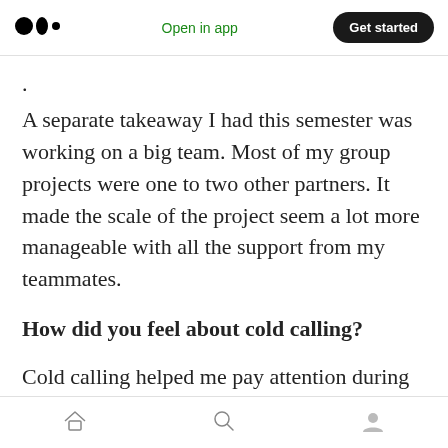Open in app | Get started
A separate takeaway I had this semester was working on a big team. Most of my group projects were one to two other partners. It made the scale of the project seem a lot more manageable with all the support from my teammates.
How did you feel about cold calling?
Cold calling helped me pay attention during lecture by making me be ready during any moment of class. Also, working through the problems with the professor was very beneficial
Home | Search | Profile